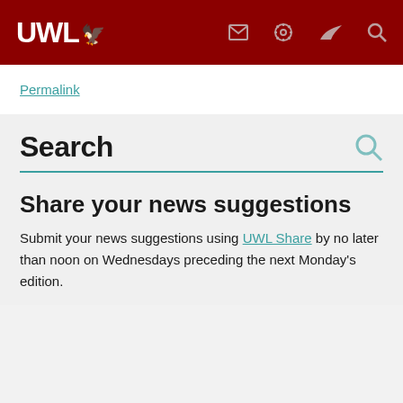UWL (University of Wisconsin-La Crosse) navigation header with logo and icons
Permalink
Search
Share your news suggestions
Submit your news suggestions using UWL Share by no later than noon on Wednesdays preceding the next Monday's edition.